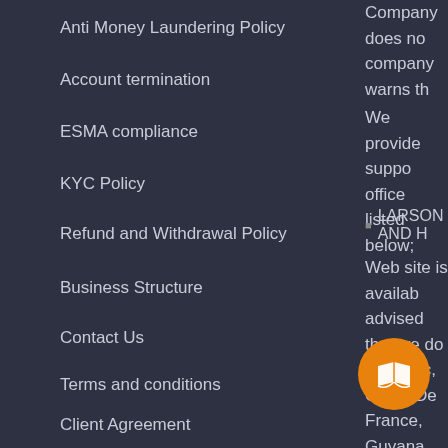Anti Money Laundering Policy
Account termination
ESMA compliance
KYC Policy
Refund and Withdrawal Policy
Business Structure
Contact Us
Terms and conditions
Client Agreement
Company Services
Company does no... company warns th...
We provide suppo... office listed below;
LARSON AND H...
Web site is availab... advised that we do... Republic, Cuba, De... France, Guyana, Ira... Republic of Guinea... Vanuatu, Zimbabw...
All possible kinds o... offices(franchisee).... bodies acting in the...
The si...nta... materia...ore st...
However, please...
[Figure (illustration): Orange circular button with white open book icon]